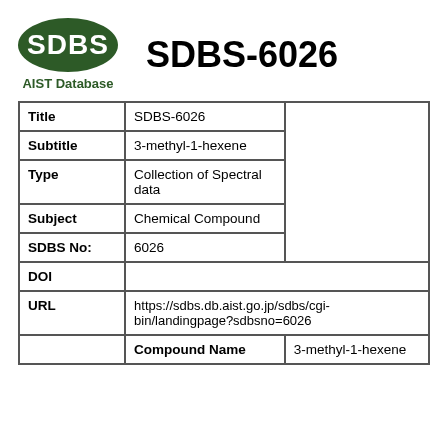[Figure (logo): SDBS green oval logo with white text and 'AIST Database' subtitle]
SDBS-6026
| Title | SDBS-6026 |  |
| Subtitle | 3-methyl-1-hexene |  |
| Type | Collection of Spectral data |  |
| Subject | Chemical Compound |  |
| SDBS No: | 6026 |  |
| DOI |  |  |
| URL | https://sdbs.db.aist.go.jp/sdbs/cgi-bin/landingpage?sdbsno=6026 |  |
|  | Compound Name | 3-methyl-1-hexene |